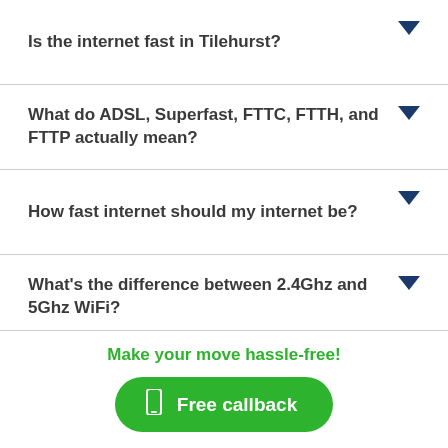Is the internet fast in Tilehurst?
What do ADSL, Superfast, FTTC, FTTH, and FTTP actually mean?
How fast internet should my internet be?
What's the difference between 2.4Ghz and 5Ghz WiFi?
Make your move hassle-free!
Free callback